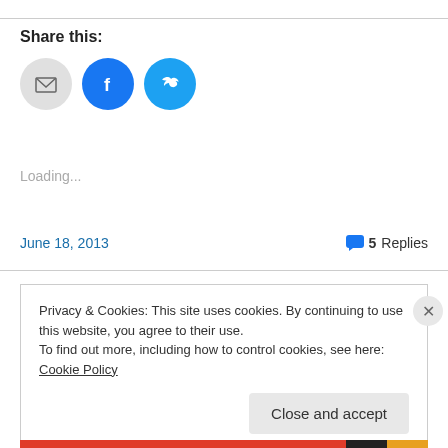Share this:
[Figure (illustration): Three social sharing icon buttons: email (grey circle with envelope icon), Facebook (blue circle with 'f' logo), Twitter (blue circle with bird icon)]
Loading...
June 18, 2013   💬 5 Replies
Privacy & Cookies: This site uses cookies. By continuing to use this website, you agree to their use.
To find out more, including how to control cookies, see here: Cookie Policy
Close and accept